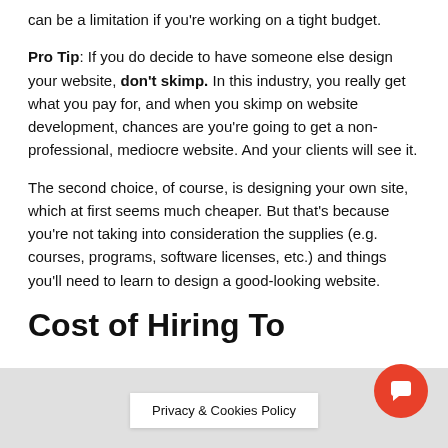can be a limitation if you're working on a tight budget.
Pro Tip: If you do decide to have someone else design your website, don't skimp. In this industry, you really get what you pay for, and when you skimp on website development, chances are you're going to get a non-professional, mediocre website. And your clients will see it.
The second choice, of course, is designing your own site, which at first seems much cheaper. But that's because you're not taking into consideration the supplies (e.g. courses, programs, software licenses, etc.) and things you'll need to learn to design a good-looking website.
Cost of Hiring To...
Privacy & Cookies Policy